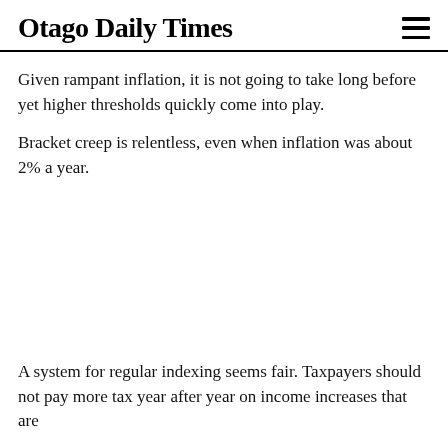Otago Daily Times
Given rampant inflation, it is not going to take long before yet higher thresholds quickly come into play.
Bracket creep is relentless, even when inflation was about 2% a year.
A system for regular indexing seems fair. Taxpayers should not pay more tax year after year on income increases that are